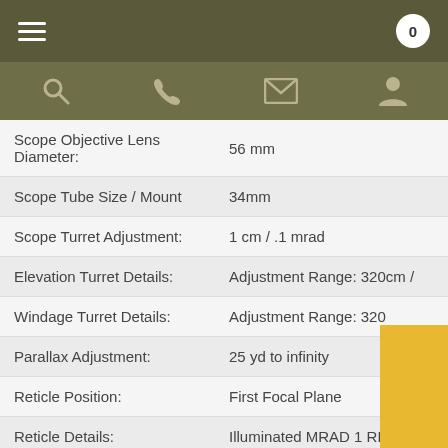Navigation bar with hamburger menu and cart (0)
| Specification | Value |
| --- | --- |
| Scope Objective Lens Diameter: | 56 mm |
| Scope Tube Size / Mount | 34mm |
| Scope Turret Adjustment: | 1 cm / .1 mrad |
| Elevation Turret Details: | Adjustment Range: 320cm / |
| Windage Turret Details: | Adjustment Range: 320 |
| Parallax Adjustment: | 25 yd to infinity |
| Reticle Position: | First Focal Plane |
| Reticle Details: | Illuminated MRAD 1 RD |
| Field of View: | 24.6-3.7ft @ 100yds |
| Eye Relief: | 3.9" |